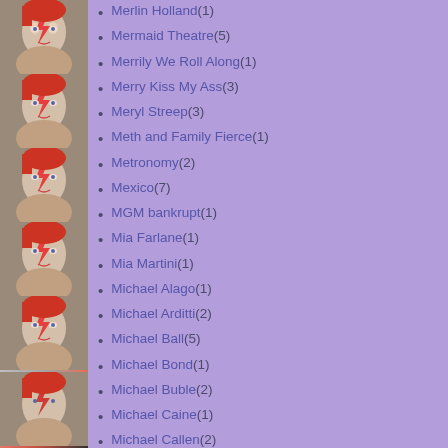[Figure (illustration): Repeated sidebar images of David Bowie Aladdin Sane style portrait with red lightning bolt face paint]
Merlin Holland (1)
Mermaid Theatre (5)
Merrily We Roll Along (1)
Merry Kiss My Ass (3)
Meryl Streep (3)
Meth and Family Fierce (1)
Metronomy (2)
Mexico (7)
MGM bankrupt (1)
Mia Farlane (1)
Mia Martini (1)
Michael Alago (1)
Michael Arditti (2)
Michael Ball (5)
Michael Bond (1)
Michael Buble (2)
Michael Caine (1)
Michael Callen (2)
Michael Cerveris (1)
Michael Crichton (1)
Michael Douglas (1)
Michael Fassbender (2)